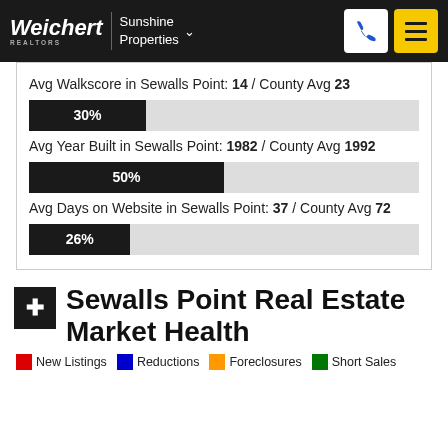Weichert REALTORS | Sunshine Properties
Avg Walkscore in Sewalls Point: 14 / County Avg 23
[Figure (bar-chart): Avg Walkscore bar]
Avg Year Built in Sewalls Point: 1982 / County Avg 1992
[Figure (bar-chart): Avg Year Built bar]
Avg Days on Website in Sewalls Point: 37 / County Avg 72
[Figure (bar-chart): Avg Days on Website bar]
Sewalls Point Real Estate Market Health
New Listings   Reductions   Foreclosures   Short Sales